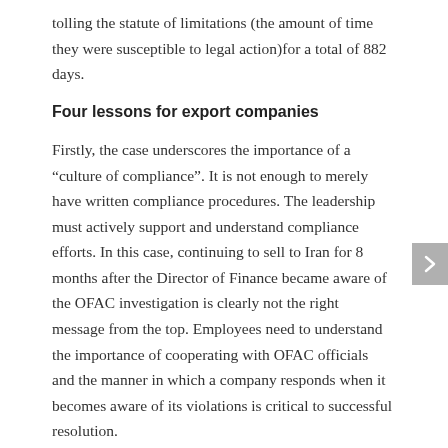tolling the statute of limitations (the amount of time they were susceptible to legal action)for a total of 882 days.
Four lessons for export companies
Firstly, the case underscores the importance of a “culture of compliance”. It is not enough to merely have written compliance procedures. The leadership must actively support and understand compliance efforts. In this case, continuing to sell to Iran for 8 months after the Director of Finance became aware of the OFAC investigation is clearly not the right message from the top. Employees need to understand the importance of cooperating with OFAC officials and the manner in which a company responds when it becomes aware of its violations is critical to successful resolution.